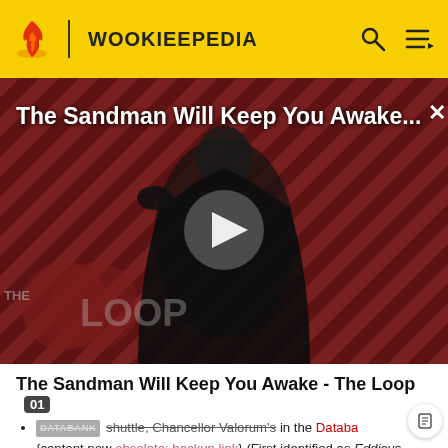WOOKIEEPEDIA
[Figure (screenshot): Video thumbnail for 'The Sandman Will Keep You Awake... - The Loop' showing a dark-cloaked figure against a red diagonal-striped background with a play button overlay and 'THE LOOP' watermark logo.]
The Sandman Will Keep You Awake - The Loop
DATABANK shuttle, Chancellor Valorum's in the Databa (content now obsolete; backup link) (First identified as Eddicus-class planetary shuttle)